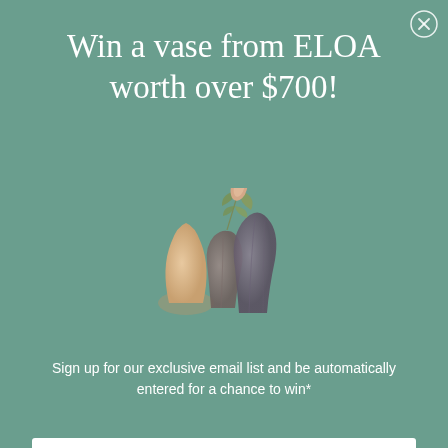[Figure (illustration): Close (X) button circle in top right corner]
Win a vase from ELOA worth over $700!
[Figure (photo): Three decorative vases of varying sizes and shapes in muted earth tones with a plant sprig, displayed on a teal/green background]
Sign up for our exclusive email list and be automatically entered for a chance to win*
Email
Enter the Giveaway
*Please read our terms and conditions here